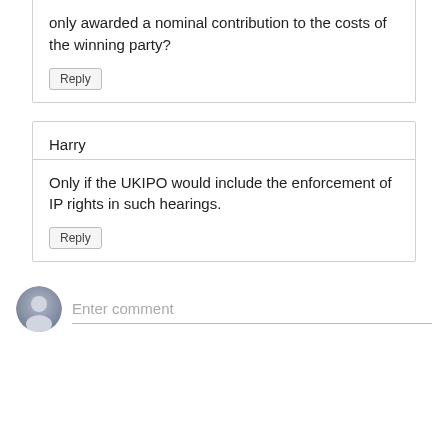only awarded a nominal contribution to the costs of the winning party?
Reply
Harry
Only if the UKIPO would include the enforcement of IP rights in such hearings.
Reply
Enter comment